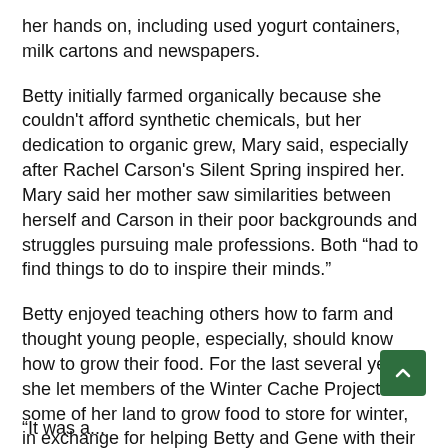her hands on, including used yogurt containers, milk cartons and newspapers.
Betty initially farmed organically because she couldn't afford synthetic chemicals, but her dedication to organic grew, Mary said, especially after Rachel Carson's Silent Spring inspired her. Mary said her mother saw similarities between herself and Carson in their poor backgrounds and struggles pursuing male professions. Both “had to find things to do to inspire their minds.”
Betty enjoyed teaching others how to farm and thought young people, especially, should know how to grow their food. For the last several years, she let members of the Winter Cache Project use some of her land to grow food to store for winter, in exchange for helping Betty and Gene with their crops. She gave advice to inexperienced group members.
“It was a...